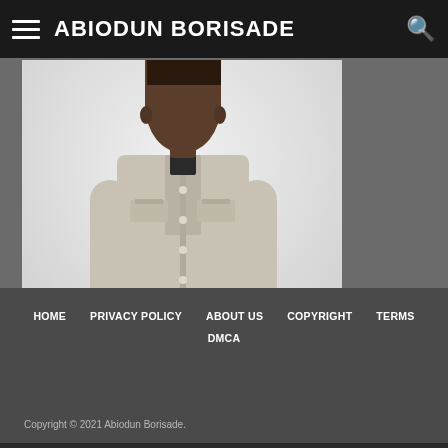ABIODUN BORISADE
[Figure (photo): Black and white photograph of a man in a light-colored traditional African suit with mandarin collar, seated with hands clasped, viewed from mid-torso up]
HOME  PRIVACY POLICY  ABOUT US  COPYRIGHT  TERMS  DMCA
Copyright © 2021 Abiodun Borisade.